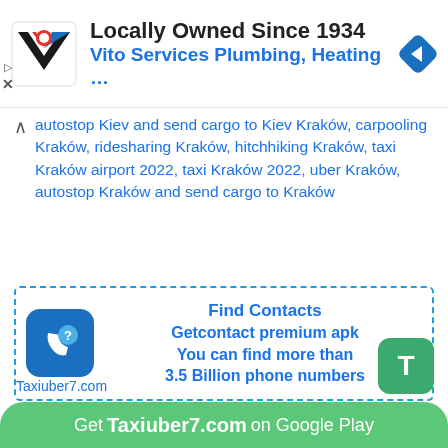[Figure (screenshot): Ad banner: Vito Services Plumbing, Heating logo and navigation icon. Text: Locally Owned Since 1934 / Vito Services Plumbing, Heating ...]
autostop Kiev and send cargo to Kiev Kraków, carpooling Kraków, ridesharing Kraków, hitchhiking Kraków, taxi Kraków airport 2022, taxi Kraków 2022, uber Kraków, autostop Kraków and send cargo to Kraków
[Figure (infographic): Find Contacts box with phone icon: Find Contacts / Getcontact premium apk / You can find more than / 3.5 Billion phone numbers]
Taxiuber7.com
Get Taxiuber7.com on Google Play